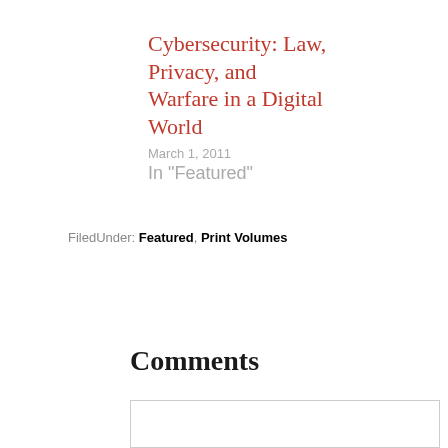Cybersecurity: Law, Privacy, and Warfare in a Digital World
March 1, 2011
In "Featured"
FiledUnder: Featured, Print Volumes
Comments